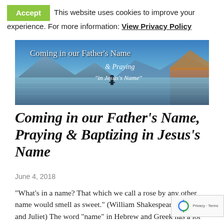Accept  This website uses cookies to improve your experience. For more information: View Privacy Policy
[Figure (photo): Banner image of a mountain lake with a silhouetted person, overlaid with script text: 'Coming in our Father's Name & Praying in Jesus's Name']
Coming in our Father's Name, Praying & Baptizing in Jesus's Name
June 4, 2018
“What’s in a name? That which we call a rose by any other name would smell as sweet.” (William Shakespeare’s Romeo and Juliet) The word “name” in Hebrew and Greek has a lot more meaning to it than the English equivalent to We...